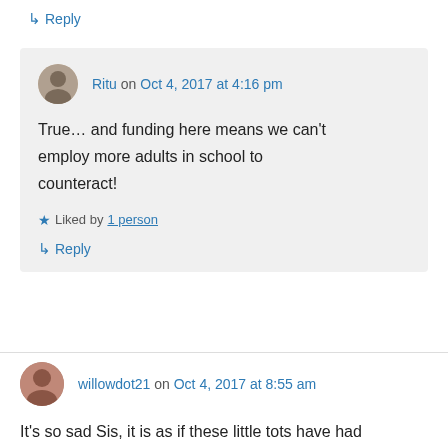↳ Reply
Ritu on Oct 4, 2017 at 4:16 pm
True… and funding here means we can't employ more adults in school to counteract!
★ Liked by 1 person
↳ Reply
willowdot21 on Oct 4, 2017 at 8:55 am
It's so sad Sis, it is as if these little tots have had their childhood stolen. So sad, looking at the world it would seem we all all of to hell in a